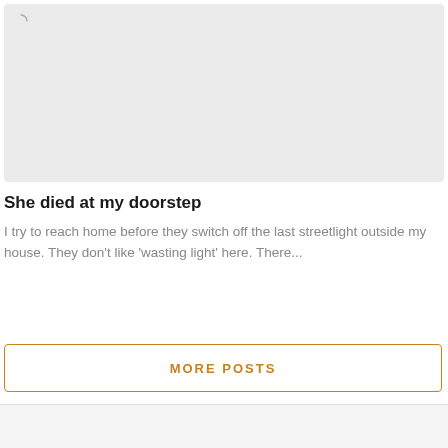[Figure (photo): Loading/placeholder image area with a spinner icon in the top-left corner, light gray background]
She died at my doorstep
I try to reach home before they switch off the last streetlight outside my house. They don't like 'wasting light' here. There...
MORE POSTS
Covid-19 Case Stats (J&K)